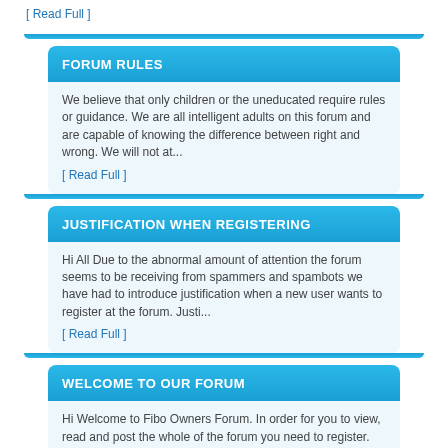[ Read Full ]
FORUM RULES
We believe that only children or the uneducated require rules or guidance. We are all intelligent adults on this forum and are capable of knowing the difference between right and wrong. We will not at...
[ Read Full ]
JUSTIFICATION WHEN REGISTERING
Hi All Due to the abnormal amount of attention the forum seems to be receiving from spammers and spambots we have had to introduce justification when a new user wants to register at the forum. Justi...
[ Read Full ]
WELCOME TO OUR FORUM
Hi Welcome to Fibo Owners Forum. In order for you to view, read and post the whole of the forum you need to register. Registration is FREE. Gain access to FREE Help and Advice from our members. So joi...
[ Read Full ]
LOGIN AND REGISTRATION ISSUES